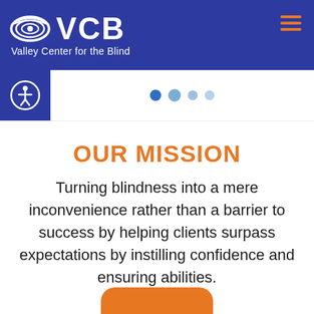[Figure (logo): VCB Valley Center for the Blind logo with stylized eye icon and hamburger menu icon in dark blue header]
[Figure (infographic): Accessibility icon (person with circle) on dark blue square, followed by four dots indicating carousel position]
OUR MISSION
Turning blindness into a mere inconvenience rather than a barrier to success by helping clients surpass expectations by instilling confidence and ensuring abilities.